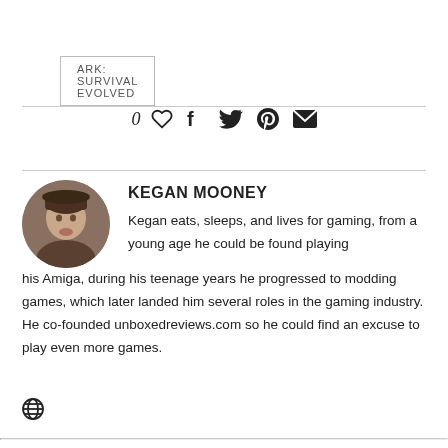ARK: SURVIVAL EVOLVED
0 ♡ f 𝕥 ⊕ ✉
KEGAN MOONEY
Kegan eats, sleeps, and lives for gaming, from a young age he could be found playing his Amiga, during his teenage years he progressed to modding games, which later landed him several roles in the gaming industry. He co-founded unboxedreviews.com so he could find an excuse to play even more games.
[Figure (photo): Circular profile photo of Kegan Mooney]
🌐